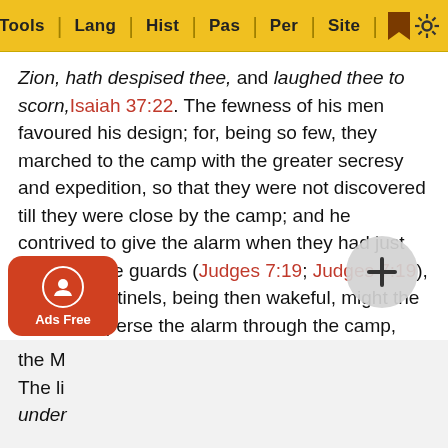Tools | Lang | Hist | Pas | Per | Site
Zion, hath despised thee, and laughed thee to scorn, Isaiah 37:22. The fewness of his men favoured his design; for, being so few, they marched to the camp with the greater secresy and expedition, so that they were not discovered till they were close by the camp; and he contrived to give the alarm when they had just mounted the guards (Judges 7:19; Judges 7:19), that the sentinels, being then wakeful, might the sooner disperse the alarm through the camp, which was the best service they could do him. Three ways Gideon contrived to strike a terror upon this army, and so put them into confusion. [1.] With a great noise. Every man must blow his trumpet in the most terrible manner he could and clatter an earthen pitcher to pieces at the same time; probably each dashed his pitcher to his next man's, and so they were broken together, which would not only make a great crash but a figure of what would be the effects of the fright, even the M... ...ze. The li... ...le under... ...eing